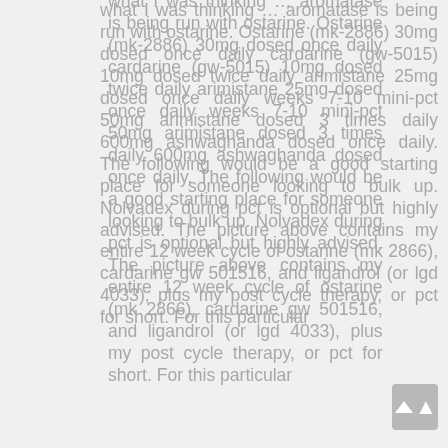what I was thinking … aromatase is being run with ostarine. Ostarine (mk-2886) 30mg dosed once daily cardarine (gw-5015) 10mg dosed twice daily arimistane 25mg dosed once daily weeks 7-10 mini-pct 50mg arimistane dosed 3 times daily 600mg ashwaghanda dosed once daily. The following would be a good starting place for someone looking to bulk up. Nolvadex during pct is optional but highly advised. The picture above contains my entire 12 week cycle of ostarine (mk 2866), cardarine gw 501516, and ligandrol (or lgd 4033), plus my post cycle therapy, or pct for short. For this particular